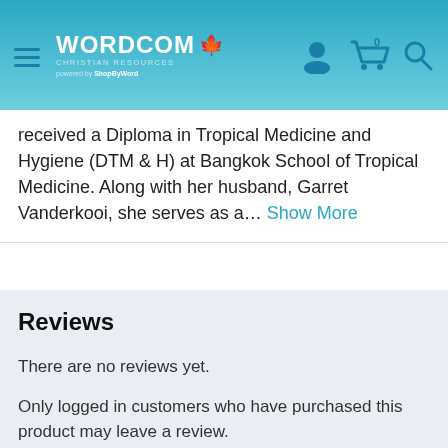Wordcom Christian Resources — powered by ShopByWord
received a Diploma in Tropical Medicine and Hygiene (DTM & H) at Bangkok School of Tropical Medicine. Along with her husband, Garret Vanderkooi, she serves as a... Show More
Reviews
There are no reviews yet.
Only logged in customers who have purchased this product may leave a review.